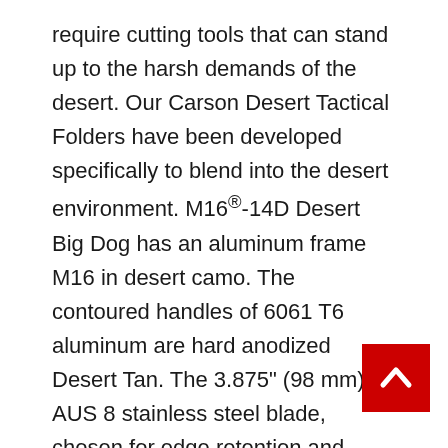require cutting tools that can stand up to the harsh demands of the desert. Our Carson Desert Tactical Folders have been developed specifically to blend into the desert environment. M16®-14D Desert Big Dog has an aluminum frame M16 in desert camo. The contoured handles of 6061 T6 aluminum are hard anodized Desert Tan. The 3.875" (98 mm) AUS 8 stainless steel blade, chosen for edge retention and durability, receives a highly corrosion-resistant Desert Tan non-reflective titanium nitride coating. It has a Combined Razor-Sharp and Triple-Point™ Serrated edge to cut through nets, webbing and vegetation quickly. It also features our automated liner safety. Automated liner safety is
[Figure (other): Red back-to-top button with white upward-pointing chevron arrow]